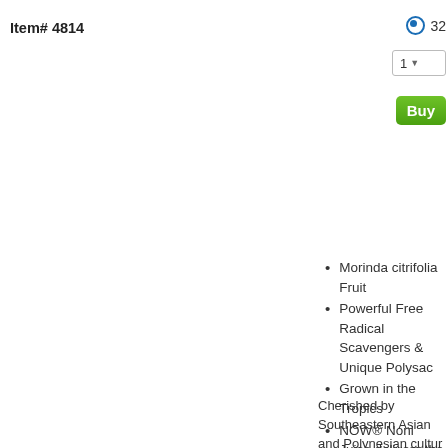Item# 4814
32
1
Buy
Morinda citrifolia Fruit
Powerful Free Radical Scavengers & Unique Polysaccharides
Grown in the Tropics
NOW® Noni Juice delivers the natural nutrient profile of Noni as it appears in Whole Foods.
Cherished by Southeastern Asian and Polynesian cultures for thousands of years, Noni (Morinda citrifolia) has a long history of traditional use. Modern research indicates that Noni abounds in bioactive polysaccharides, naturally-occurring bioflavonoids and unique fatty acid esters that confer Noni with special properties. Noni's constituent compounds have been scientifically shown to be supportive of immune system function and healthy cellular responses to environmental and metabolic stresses.* When consumed as part of a healthy diet, Noni can be a smart adjunct for sound health and all around wellness.*
Natural Free Radical Scavengers and Phytonutrients
Immune Supporting Compounds, including Scopoletins
Unique Polysaccharides and Fatty Acid Esters
No Artificial Colors, Flavors or Preservatives